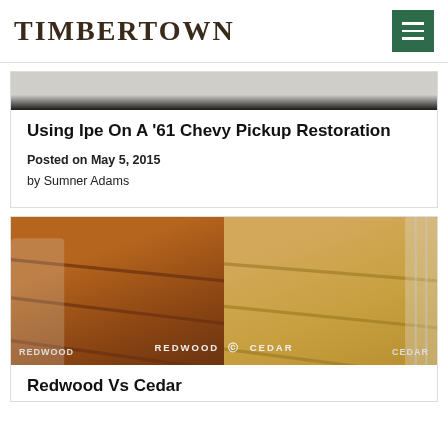TimberTown
[Figure (photo): Top portion of an article card showing a dark image (partial truck restoration photo)]
Using Ipe On A ’61 Chevy Pickup Restoration
Posted on May 5, 2015
by Sumner Adams
[Figure (photo): Side-by-side comparison photo of Redwood vs Cedar decking boards with label 'REDWOOD vs CEDAR']
Redwood Vs Cedar